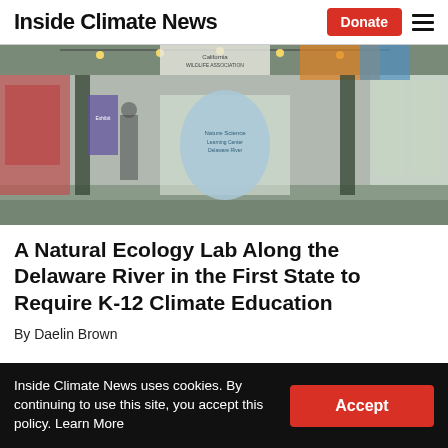Inside Climate News
[Figure (photo): Interior of a nature center or ecology exhibit hall along the Delaware River, showing a corridor with hanging lights, display banners, and colorful signage including butterfly imagery overhead.]
A Natural Ecology Lab Along the Delaware River in the First State to Require K-12 Climate Education
By Daelin Brown
Inside Climate News uses cookies. By continuing to use this site, you accept this policy. Learn More